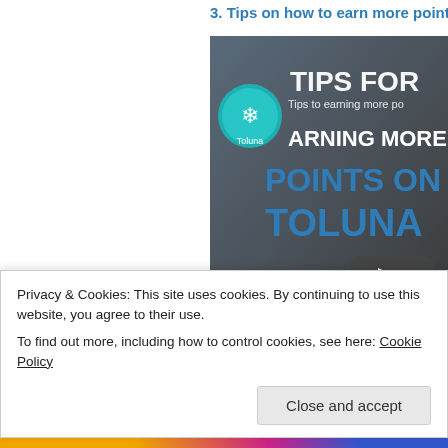3. Tips on how to earn more points o
[Figure (screenshot): YouTube video thumbnail showing 'TIPS FOR EARNING MORE POINTS ON TOLUNA' with Toluna logo icon and YouTube play button overlay]
4. How to enjoy the Toluna experienc
Privacy & Cookies: This site uses cookies. By continuing to use this website, you agree to their use.
To find out more, including how to control cookies, see here: Cookie Policy
Close and accept